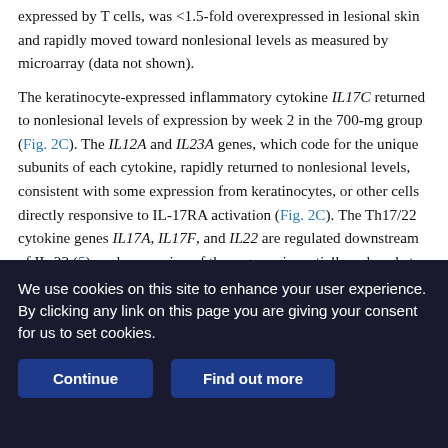expressed by T cells, was <1.5-fold overexpressed in lesional skin and rapidly moved toward nonlesional levels as measured by microarray (data not shown).
The keratinocyte-expressed inflammatory cytokine IL17C returned to nonlesional levels of expression by week 2 in the 700-mg group (Fig. 2C). The IL12A and IL23A genes, which code for the unique subunits of each cytokine, rapidly returned to nonlesional levels, consistent with some expression from keratinocytes, or other cells directly responsive to IL-17RA activation (Fig. 2C). The Th17/22 cytokine genes IL17A, IL17F, and IL22 are regulated downstream of IL-23 (5), and expression of these genes is partially reduced at week 2 and reduced to nonlesional levels in the 700-mg group at week 6, which occurs after normalization of
We use cookies on this site to enhance your user experience. By clicking any link on this page you are giving your consent for us to set cookies.
Continue
Find out more